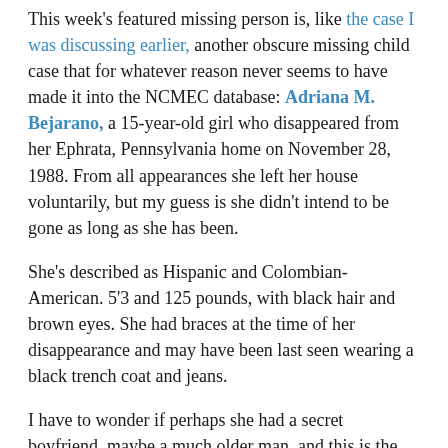This week's featured missing person is, like the case I was discussing earlier, another obscure missing child case that for whatever reason never seems to have made it into the NCMEC database: Adriana M. Bejarano, a 15-year-old girl who disappeared from her Ephrata, Pennsylvania home on November 28, 1988. From all appearances she left her house voluntarily, but my guess is she didn't intend to be gone as long as she has been.
She's described as Hispanic and Colombian-American. 5'3 and 125 pounds, with black hair and brown eyes. She had braces at the time of her disappearance and may have been last seen wearing a black trench coat and jeans.
I have to wonder if perhaps she had a secret boyfriend, maybe a much older man, and this is the person she went out to meet.